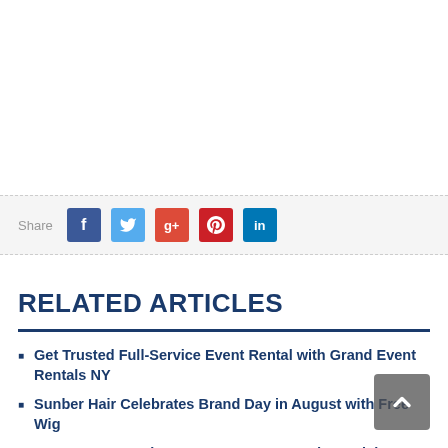Share
Get Trusted Full-Service Event Rental with Grand Event Rentals NY
Sunber Hair Celebrates Brand Day in August with Free Wig
Baeryon's Launches a New Summer Outdoor Wicker Sectional Collection
RELATED ARTICLES